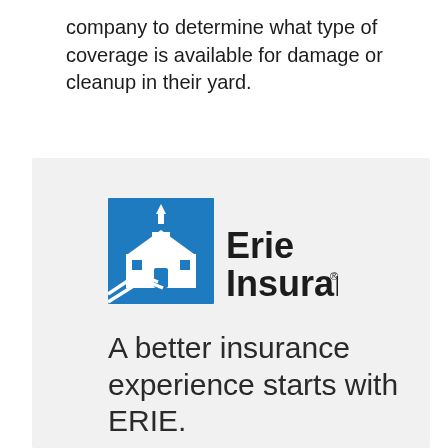company to determine what type of coverage is available for damage or cleanup in their yard.
[Figure (logo): Erie Insurance logo with blue building/church icon and 'Erie Insurance' wordmark in dark text]
A better insurance experience starts with ERIE.
Haven't heard of us? Erie Insurance started with humble beginnings in 1925 with a mission to emphasize customer service